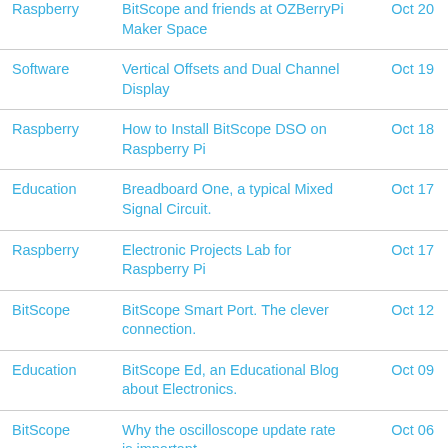| Category | Title | Date |
| --- | --- | --- |
| Raspberry | BitScope and friends at OZBerryPi Maker Space | Oct 20 |
| Software | Vertical Offsets and Dual Channel Display | Oct 19 |
| Raspberry | How to Install BitScope DSO on Raspberry Pi | Oct 18 |
| Education | Breadboard One, a typical Mixed Signal Circuit. | Oct 17 |
| Raspberry | Electronic Projects Lab for Raspberry Pi | Oct 17 |
| BitScope | BitScope Smart Port. The clever connection. | Oct 12 |
| Education | BitScope Ed, an Educational Blog about Electronics. | Oct 09 |
| BitScope | Why the oscilloscope update rate is important. | Oct 06 |
| Raspberry | ... | Oct 17 |